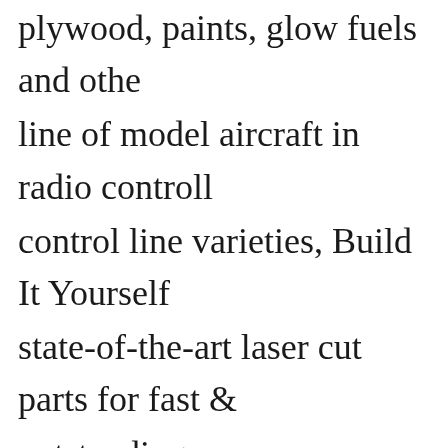plywood, paints, glow fuels and other line of model aircraft in radio controlled, control line varieties, Build It Yourself state-of-the-art laser cut parts for fast and outstanding accuracy, Almost Ready to
Slimline Products | 480-967-5053 | S
Exhaust systems, fuel system components
SR Batteries | 631-286-0079 | Bellport
Batteries, aerodynamic toys, aviation-